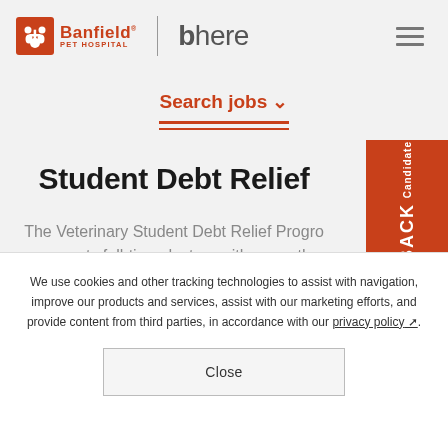Banfield Pet Hospital | bhere
Search jobs ∨
Student Debt Relief
The Veterinary Student Debt Relief Program supports full-time doctors with a month
Candidate FEEDBACK
We use cookies and other tracking technologies to assist with navigation, improve our products and services, assist with our marketing efforts, and provide content from third parties, in accordance with our privacy policy.
Close